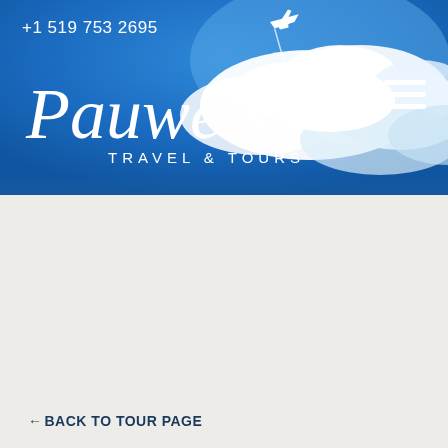[Figure (photo): Blue sky with white clouds header banner for Pauwels Travel & Tours website]
+1 519 753 2695
Pauwels Travel & Tours
← BACK TO TOUR PAGE
Booking Form
Autumn in Paris